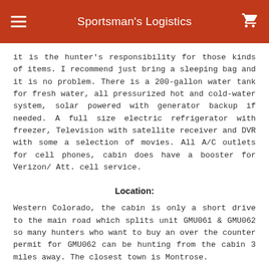Sportsman's Logistics
it is the hunter's responsibility for those kinds of items. I recommend just bring a sleeping bag and it is no problem. There is a 200-gallon water tank for fresh water, all pressurized hot and cold-water system, solar powered with generator backup if needed. A full size electric refrigerator with freezer, Television with satellite receiver and DVR with some a selection of movies. All A/C outlets for cell phones, cabin does have a booster for Verizon/ Att. cell service.
Location:
Western Colorado, the cabin is only a short drive to the main road which splits unit GMU061 & GMU062 so many hunters who want to buy an over the counter permit for GMU062 can be hunting from the cabin 3 miles away. The closest town is Montrose.